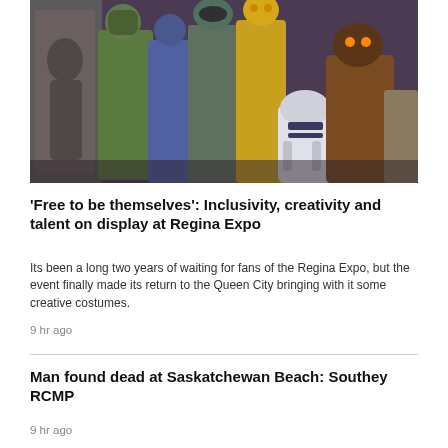[Figure (photo): Group of people in Star Wars costumes including C-3PO, R2-D2, a Jawa, Boba Mando-style characters, and Han Solo in carbonite prop, standing together at Regina Expo.]
'Free to be themselves': Inclusivity, creativity and talent on display at Regina Expo
Its been a long two years of waiting for fans of the Regina Expo, but the event finally made its return to the Queen City bringing with it some creative costumes.
9 hr ago
Man found dead at Saskatchewan Beach: Southey RCMP
9 hr ago